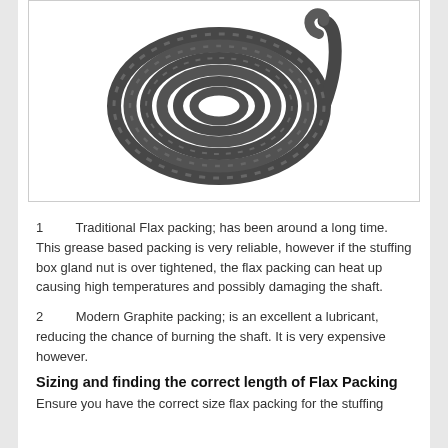[Figure (photo): A coiled braided flax/graphite packing rope, dark grey in color, shown from above on a white background.]
1 Traditional Flax packing; has been around a long time. This grease based packing is very reliable, however if the stuffing box gland nut is over tightened, the flax packing can heat up causing high temperatures and possibly damaging the shaft.
2 Modern Graphite packing; is an excellent a lubricant, reducing the chance of burning the shaft. It is very expensive however.
Sizing and finding the correct length of Flax Packing
Ensure you have the correct size flax packing for the stuffing